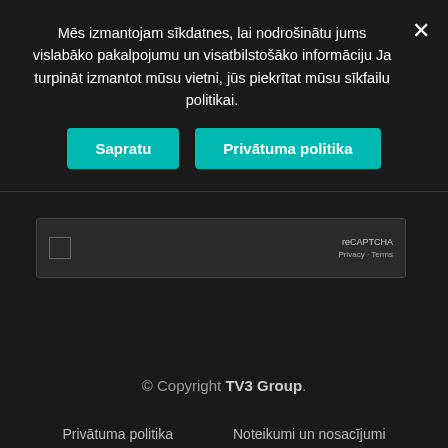Mēs izmantojam sīkdatnes, lai nodrošinātu jums vislabāko pakalpojumu un visatbilstošāko informāciju Ja turpināt izmantot mūsu vietni, jūs piekrītat mūsu sīkfailu politikai.
Sapratu
Privātuma politika
[Figure (screenshot): reCAPTCHA widget with checkbox, Privacy and Terms links]
Post Comment
© Copyright TV3 Group.
Privātuma politika   Noteikumi un nosacījumi